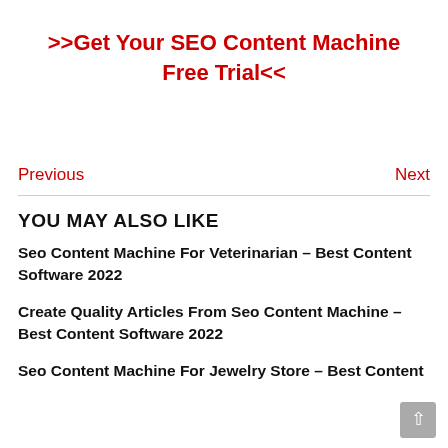>>Get Your SEO Content Machine Free Trial<<
Previous
Next
YOU MAY ALSO LIKE
Seo Content Machine For Veterinarian – Best Content Software 2022
Create Quality Articles From Seo Content Machine – Best Content Software 2022
Seo Content Machine For Jewelry Store – Best Content